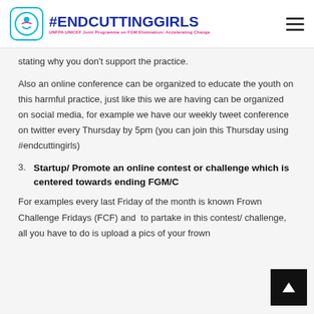#ENDCUTTINGGIRLS UNFPA UNICEF Joint Programme on FGM Elimination: Accelerating Change
stating why you don't support the practice.
Also an online conference can be organized to educate the youth on this harmful practice, just like this we are having can be organized on social media, for example we have our weekly tweet conference on twitter every Thursday by 5pm (you can join this Thursday using #endcuttingirls)
3. Startup/ Promote an online contest or challenge which is centered towards ending FGM/C
For examples every last Friday of the month is known Frown Challenge Fridays (FCF) and  to partake in this contest/ challenge, all you have to do is upload a pics of your frown